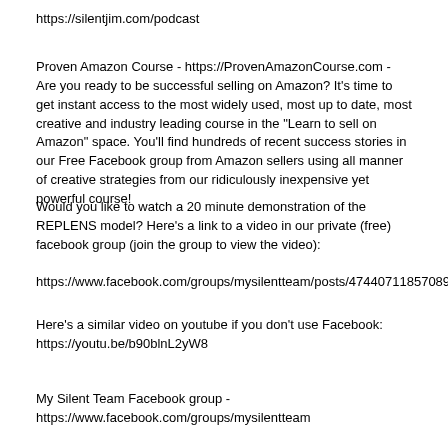https://silentjim.com/podcast
Proven Amazon Course - https://ProvenAmazonCourse.com - Are you ready to be successful selling on Amazon? It's time to get instant access to the most widely used, most up to date, most creative and industry leading course in the "Learn to sell on Amazon" space. You'll find hundreds of recent success stories in our Free Facebook group from Amazon sellers using all manner of creative strategies from our ridiculously inexpensive yet powerful course!
Would you like to watch a 20 minute demonstration of the REPLENS model? Here's a link to a video in our private (free) facebook group (join the group to view the video):
https://www.facebook.com/groups/mysilentteam/posts/4744071185708954/
Here's a similar video on youtube if you don't use Facebook:
https://youtu.be/b90blnL2yW8
My Silent Team Facebook group -
https://www.facebook.com/groups/mysilentteam